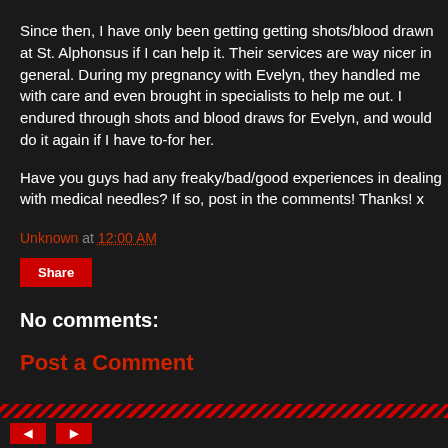Since then, I have only been getting getting shots/blood drawn at St. Alphonsus if I can help it. Their services are way nicer in general.  During my pregnancy with Evelyn, they handled me with care and even brought in specialists to help me out. I endured through shots and blood draws for Evelyn, and would do it again if I have to-for her.
Have you guys had any freaky/bad/good experiences in dealing with medical needles? If so, post in the comments! Thanks! x
Unknown at 12:00 AM
Share
No comments:
Post a Comment